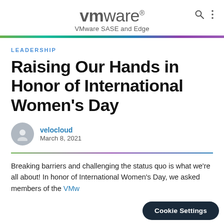VMware® — VMware SASE and Edge
[Figure (logo): VMware logo with search and menu icons]
Leadership
Raising Our Hands in Honor of International Women's Day
velocloud — March 8, 2021
Breaking barriers and challenging the status quo is what we're all about! In honor of International Women's Day, we asked members of the VMw...